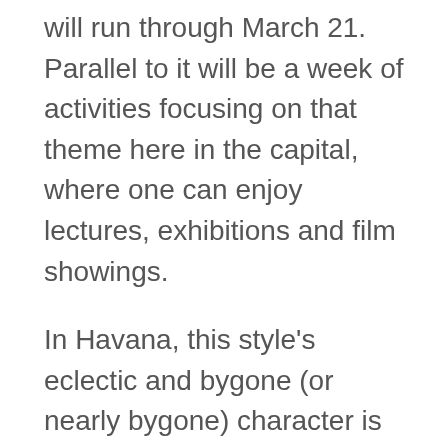will run through March 21. Parallel to it will be a week of activities focusing on that theme here in the capital, where one can enjoy lectures, exhibitions and film showings.
In Havana, this style's eclectic and bygone (or nearly bygone) character is reflected in elements of neoclassical, baroque and rococo buildings. In the middle of chaos, the Art Deco style hangs on, most adeptly concealing the category of ruin while allowing one to say goodbye to a city to which it arrived late.